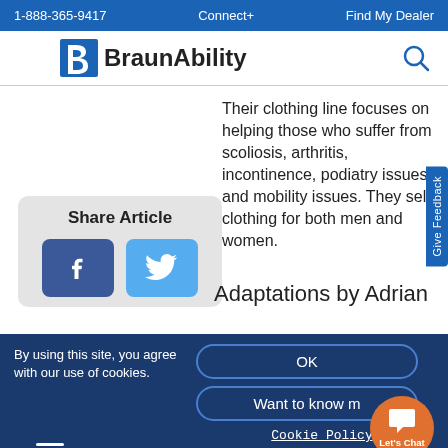1-888-365-9417   Connect+   Find My Dealer
[Figure (logo): BraunAbility logo with stylized B icon and wordmark]
Their clothing line focuses on helping those who suffer from scoliosis, arthritis, incontinence, podiatry issues, and mobility issues. They sell clothing for both men and women.
[Figure (infographic): Share Article box with Facebook and Twitter share buttons]
Adaptations by Adrian
Give Feedback
By using this site, you agree with our use of cookies.
OK
Want to know m
Cookie Policy
Privacy Policy